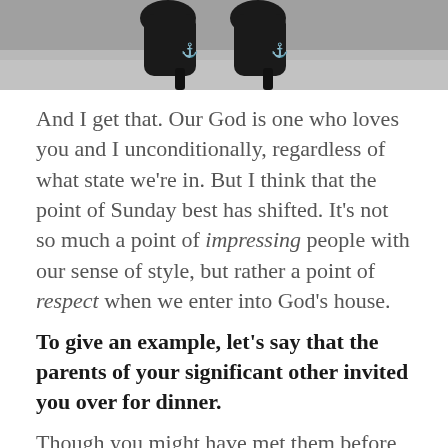[Figure (photo): Close-up photo of woman's feet wearing black high-heel shoes on pavement/concrete ground]
And I get that. Our God is one who loves you and I unconditionally, regardless of what state we're in. But I think that the point of Sunday best has shifted. It's not so much a point of impressing people with our sense of style, but rather a point of respect when we enter into God's house.
To give an example, let's say that the parents of your significant other invited you over for dinner.
Though you might have met them before, this meeting is a little different. It feels a little more special than the other times that